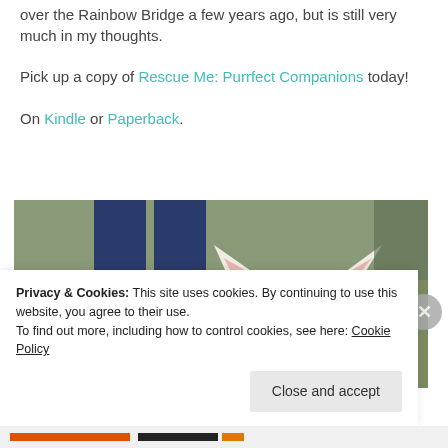over the Rainbow Bridge a few years ago, but is still very much in my thoughts.
Pick up a copy of Rescue Me: Purrfect Companions today!
On Kindle or Paperback.
[Figure (photo): Outdoor photo showing a person's legs in dark blue jeans and pink-accented shoes, standing on brown/dry grass. A white cat is in the foreground looking at the camera.]
Privacy & Cookies: This site uses cookies. By continuing to use this website, you agree to their use.
To find out more, including how to control cookies, see here: Cookie Policy
Close and accept